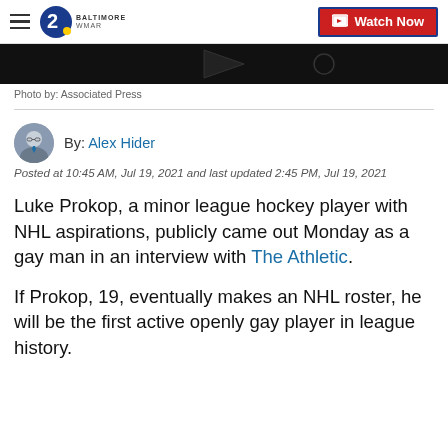WMAR 2 Baltimore — Watch Now
[Figure (screenshot): Black video player strip showing bottom portion of a video thumbnail]
Photo by: Associated Press
By: Alex Hider
Posted at 10:45 AM, Jul 19, 2021 and last updated 2:45 PM, Jul 19, 2021
Luke Prokop, a minor league hockey player with NHL aspirations, publicly came out Monday as a gay man in an interview with The Athletic.
If Prokop, 19, eventually makes an NHL roster, he will be the first active openly gay player in league history.